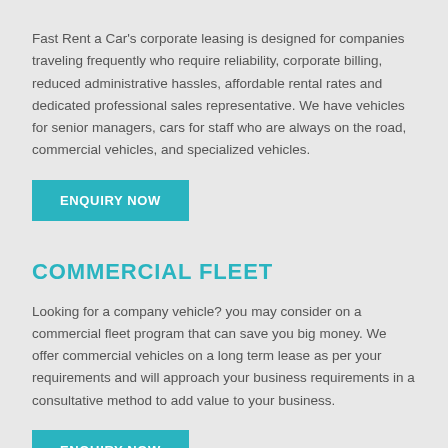Fast Rent a Car's corporate leasing is designed for companies traveling frequently who require reliability, corporate billing, reduced administrative hassles, affordable rental rates and dedicated professional sales representative. We have vehicles for senior managers, cars for staff who are always on the road, commercial vehicles, and specialized vehicles.
ENQUIRY NOW
COMMERCIAL FLEET
Looking for a company vehicle? you may consider on a commercial fleet program that can save you big money. We offer commercial vehicles on a long term lease as per your requirements and will approach your business requirements in a consultative method to add value to your business.
ENQUIRY NOW